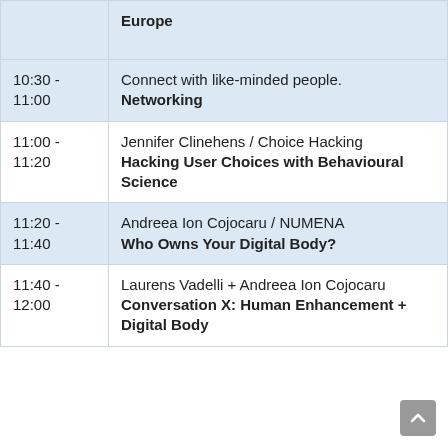| Time | Session |
| --- | --- |
|  | Europe |
| 10:30 - 11:00 | Connect with like-minded people.
Networking |
| 11:00 - 11:20 | Jennifer Clinehens / Choice Hacking
Hacking User Choices with Behavioural Science |
| 11:20 - 11:40 | Andreea Ion Cojocaru / NUMENA
Who Owns Your Digital Body? |
| 11:40 - 12:00 | Laurens Vadelli + Andreea Ion Cojocaru
Conversation X: Human Enhancement + Digital Body |